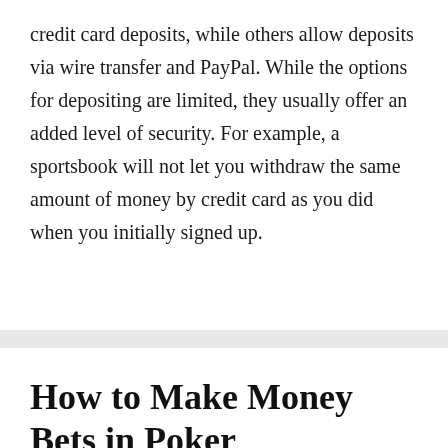credit card deposits, while others allow deposits via wire transfer and PayPal. While the options for depositing are limited, they usually offer an added level of security. For example, a sportsbook will not let you withdraw the same amount of money by credit card as you did when you initially signed up.
How to Make Money Bets in Poker